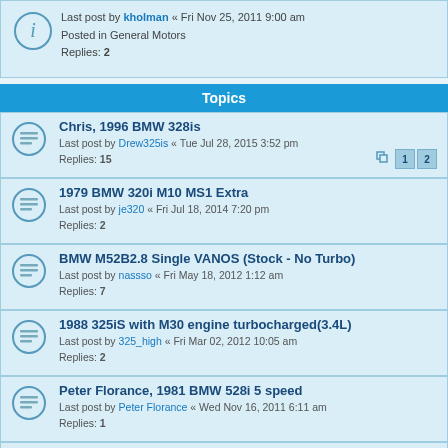Last post by kholman « Fri Nov 25, 2011 9:00 am
Posted in General Motors
Replies: 2
Topics
Chris, 1996 BMW 328is
Last post by Drew325is « Tue Jul 28, 2015 3:52 pm
Replies: 15
1979 BMW 320i M10 MS1 Extra
Last post by je320 « Fri Jul 18, 2014 7:20 pm
Replies: 2
BMW M52B2.8 Single VANOS (Stock - No Turbo)
Last post by nassso « Fri May 18, 2012 1:12 am
Replies: 7
1988 325iS with M30 engine turbocharged(3.4L)
Last post by 325_high « Fri Mar 02, 2012 10:05 am
Replies: 2
Peter Florance, 1981 BMW 528i 5 speed
Last post by Peter Florance « Wed Nov 16, 2011 6:11 am
Replies: 1
Godwin, 1990 BMW M70 V12
Last post by FishyBiz « Thu May 12, 2011 9:48 pm
Replies: 4
BMW 535 d
Last post by nimiz « Sat Mar 19, 2011 6:10 am
E28 528i LE-Jetronic